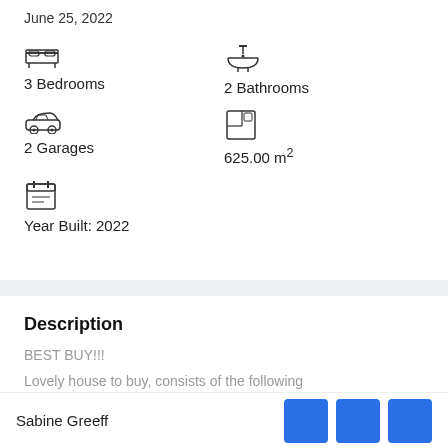June 25, 2022
3 Bedrooms
2 Bathrooms
2 Garages
625.00 m²
Year Built: 2022
Description
BEST BUY!!!
Lovely house to buy, consists of the following
Sabine Greeff